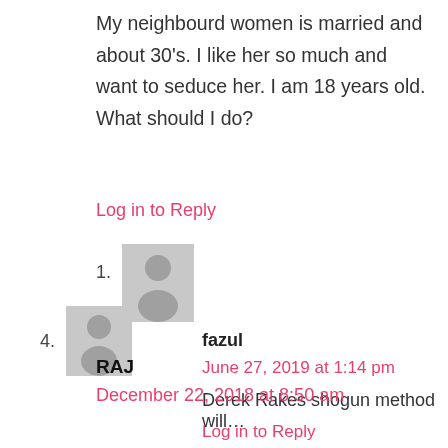My neighbourd women is married and about 30's. I like her so much and want to seduce her. I am 18 years old. What should I do?
Log in to Reply
1.
[Figure (illustration): Grey avatar silhouette icon for user]
fazul
June 27, 2019 at 1:14 pm
Derek Rakes shogun method will…
Log in to Reply
4.
[Figure (illustration): Grey avatar silhouette icon for user]
RAJ
December 22, 2018 at 8:50 am